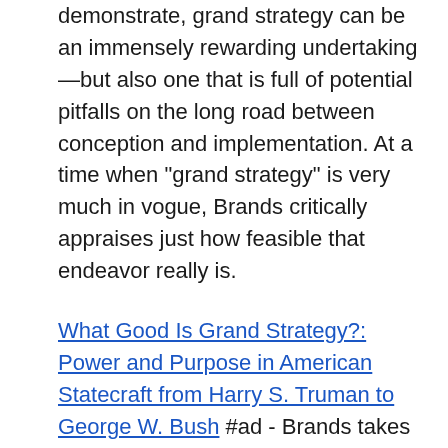demonstrate, grand strategy can be an immensely rewarding undertaking—but also one that is full of potential pitfalls on the long road between conception and implementation. At a time when "grand strategy" is very much in vogue, Brands critically appraises just how feasible that endeavor really is.
What Good Is Grand Strategy?: Power and Purpose in American Statecraft from Harry S. Truman to George W. Bush #ad - Brands takes a historical approach to this subject, examining how four presidential administrations, from that of Harry S. Grand strategy is one of the most widely used and abused concepts in the foreign policy lexicon. Bush, sought to "do" grand strategy at key inflection points in the history of modern U.